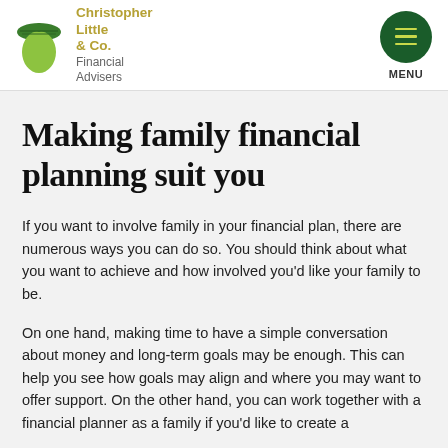[Figure (logo): Christopher Little & Co. Financial Advisers logo with green acorn icon and gold/grey text]
Making family financial planning suit you
If you want to involve family in your financial plan, there are numerous ways you can do so. You should think about what you want to achieve and how involved you'd like your family to be.
On one hand, making time to have a simple conversation about money and long-term goals may be enough. This can help you see how goals may align and where you may want to offer support. On the other hand, you can work together with a financial planner as a family if you'd like to create a